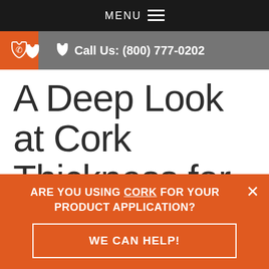MENU
Call Us: (800) 777-0202
A Deep Look at Cork Thickness for Cork Sheets
ARE YOU USING CORK FOR YOUR PRODUCT APPLICATION?
WE CAN HELP!